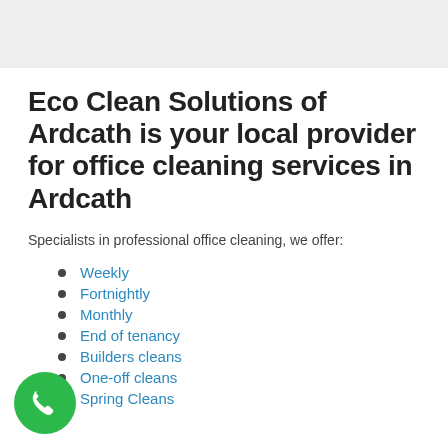[Figure (other): Gray header bar at top of page]
Eco Clean Solutions of Ardcath is your local provider for office cleaning services in Ardcath
Specialists in professional office cleaning, we offer:
Weekly
Fortnightly
Monthly
End of tenancy
Builders cleans
One-off cleans
Spring Cleans
[Figure (other): Green circular phone call button in bottom-left corner]